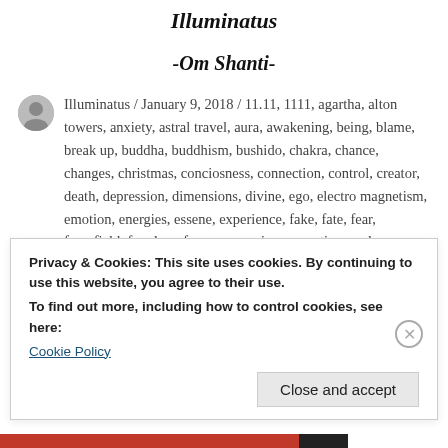Illuminatus
-Om Shanti-
Illuminatus / January 9, 2018 / 11.11, 1111, agartha, alton towers, anxiety, astral travel, aura, awakening, being, blame, break up, buddha, buddhism, bushido, chakra, chance, changes, christmas, conciosness, connection, control, creator, death, depression, dimensions, divine, ego, electro magnetism, emotion, energies, essene, experience, fake, fate, fear, forcefield, freedom, frequency, gaia, ganapati, ganesh, ganesha, garyvee, god,
Privacy & Cookies: This site uses cookies. By continuing to use this website, you agree to their use.
To find out more, including how to control cookies, see here:
Cookie Policy
Close and accept